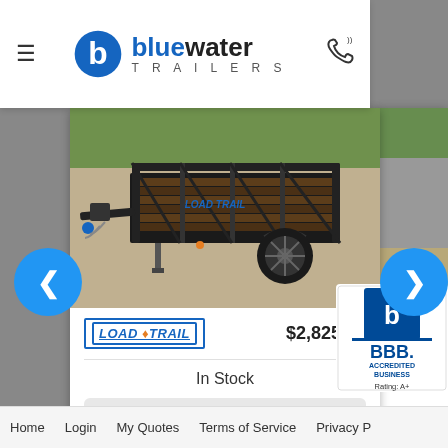[Figure (logo): Bluewater Trailers logo with hamburger menu and phone icon in white header bar]
[Figure (photo): Black utility trailer (Load Trail) on gravel driveway with grass in background]
LOAD TRAIL
$2,825.00
In Stock
Ord: 236226-3
Ser: 4ZESA1010M1236518
[Figure (logo): BBB Accredited Business badge with Rating: A+]
Home   Login   My Quotes   Terms of Service   Privacy P